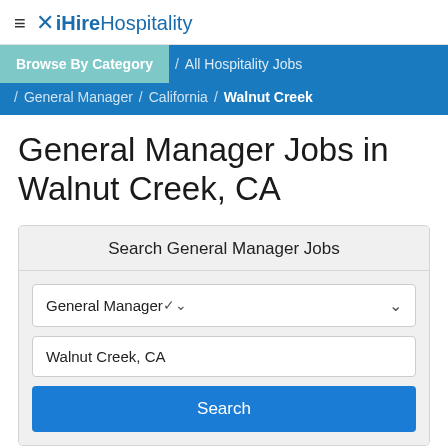≡ ✕ iHireHospitality
Browse By Category / All Hospitality Jobs / General Manager / California / Walnut Creek
General Manager Jobs in Walnut Creek, CA
Search General Manager Jobs
General Manager
Walnut Creek, CA
Search